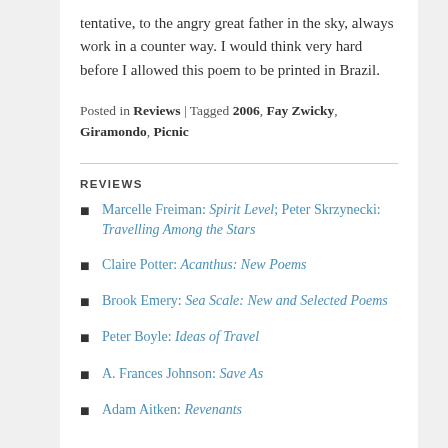tentative, to the angry great father in the sky, always work in a counter way. I would think very hard before I allowed this poem to be printed in Brazil.
Posted in Reviews | Tagged 2006, Fay Zwicky, Giramondo, Picnic
REVIEWS
Marcelle Freiman: Spirit Level; Peter Skrzynecki: Travelling Among the Stars
Claire Potter: Acanthus: New Poems
Brook Emery: Sea Scale: New and Selected Poems
Peter Boyle: Ideas of Travel
A. Frances Johnson: Save As
Adam Aitken: Revenants